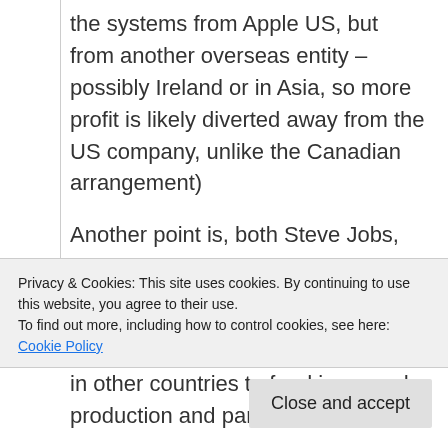the systems from Apple US, but from another overseas entity – possibly Ireland or in Asia, so more profit is likely diverted away from the US company, unlike the Canadian arrangement)
Another point is, both Steve Jobs, and Time Cook have recommended changes to the system that would have them bring this money back into the
Privacy & Cookies: This site uses cookies. By continuing to use this website, you agree to their use.
To find out more, including how to control cookies, see here: Cookie Policy
in other countries to fund improved production and parts guarantees.